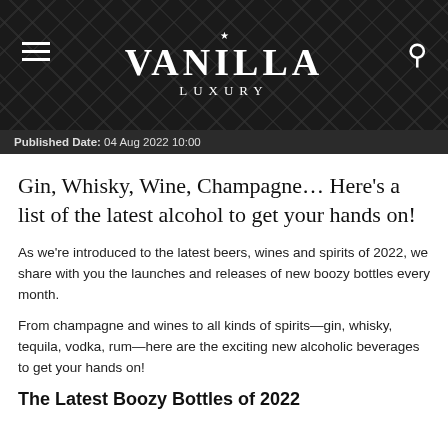VANILLA LUXURY
Published Date: 04 Aug 2022 10:00
Gin, Whisky, Wine, Champagne… Here's a list of the latest alcohol to get your hands on!
As we're introduced to the latest beers, wines and spirits of 2022, we share with you the launches and releases of new boozy bottles every month.
From champagne and wines to all kinds of spirits—gin, whisky, tequila, vodka, rum—here are the exciting new alcoholic beverages to get your hands on!
The Latest Boozy Bottles of 2022